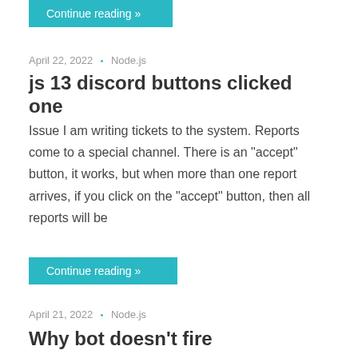Continue reading »
April 22, 2022 • Node.js
js 13 discord buttons clicked one
Issue I am writing tickets to the system. Reports come to a special channel. There is an "accept" button, it works, but when more than one report arrives, if you click on the "accept" button, then all reports will be
Continue reading »
April 21, 2022 • Node.js
Why bot doesn't fire